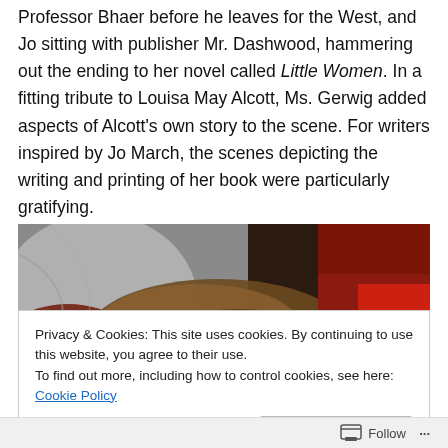Professor Bhaer before he leaves for the West, and Jo sitting with publisher Mr. Dashwood, hammering out the ending to her novel called Little Women. In a fitting tribute to Louisa May Alcott, Ms. Gerwig added aspects of Alcott's own story to the scene. For writers inspired by Jo March, the scenes depicting the writing and printing of her book were particularly gratifying.
[Figure (photo): A photograph showing a person with long blonde/brown hair lying down, wearing a grey top, with colorful items in the background including red and yellow tones.]
Privacy & Cookies: This site uses cookies. By continuing to use this website, you agree to their use.
To find out more, including how to control cookies, see here: Cookie Policy
[Close and accept]
Follow ...